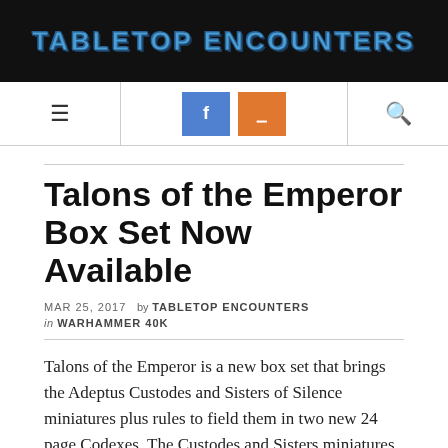TABLETOP ENCOUNTERS
Talons of the Emperor Box Set Now Available
MAR 25, 2017  by TABLETOP ENCOUNTERS
in WARHAMMER 40K
Talons of the Emperor is a new box set that brings the Adeptus Custodes and Sisters of Silence miniatures plus rules to field them in two new 24 page Codexes. The Custodes and Sisters miniatures are also available in The Horus Heresy: Burning of Prospero set, but now we get two new Codexes to field them in Warhammer 40K.